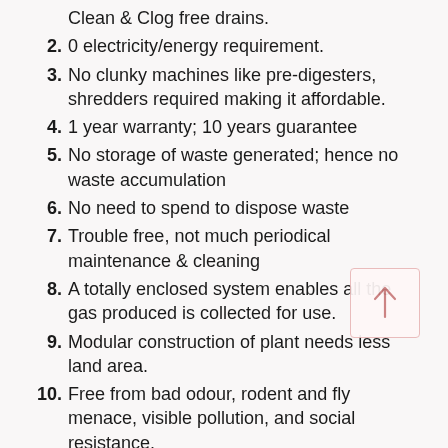Clean & Clog free drains.
0 electricity/energy requirement.
No clunky machines like pre-digesters, shredders required making it affordable.
1 year warranty; 10 years guarantee
No storage of waste generated; hence no waste accumulation
No need to spend to dispose waste
Trouble free, not much periodical maintenance & cleaning
A totally enclosed system enables all the gas produced is collected for use.
Modular construction of plant needs less land area.
Free from bad odour, rodent and fly menace, visible pollution, and social resistance.
Can be scaled up on the availability